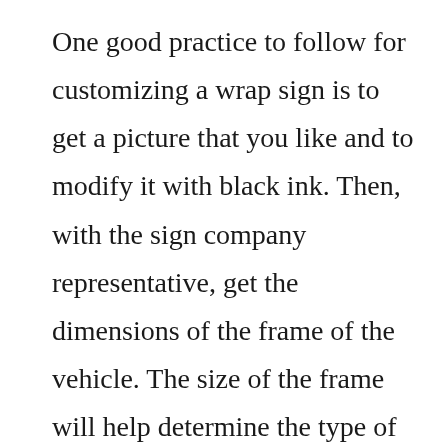One good practice to follow for customizing a wrap sign is to get a picture that you like and to modify it with black ink. Then, with the sign company representative, get the dimensions of the frame of the vehicle. The size of the frame will help determine the type of lettering and graphic that will be placed on the sign. Many companies will ask that you give them a copy of your vehicle’s maintenance log or service invoice. This way, they can make sure that the graphic is